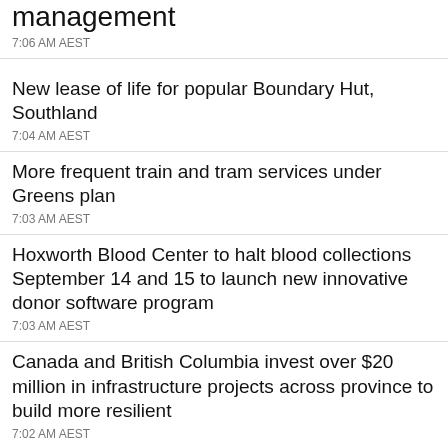management
7:06 AM AEST
New lease of life for popular Boundary Hut, Southland
7:04 AM AEST
More frequent train and tram services under Greens plan
7:03 AM AEST
Hoxworth Blood Center to halt blood collections September 14 and 15 to launch new innovative donor software program
7:03 AM AEST
Canada and British Columbia invest over $20 million in infrastructure projects across province to build more resilient
7:02 AM AEST